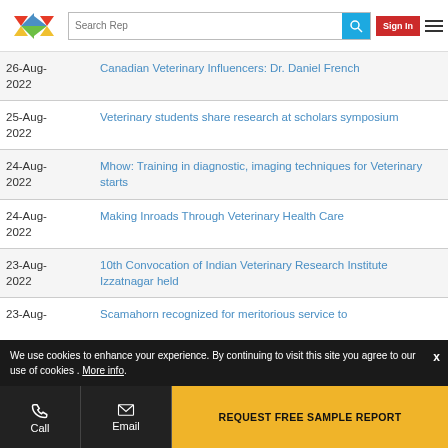Search Rep | Sign In
| Date | Title |
| --- | --- |
| 26-Aug-2022 | Canadian Veterinary Influencers: Dr. Daniel French |
| 25-Aug-2022 | Veterinary students share research at scholars symposium |
| 24-Aug-2022 | Mhow: Training in diagnostic, imaging techniques for Veterinary starts |
| 24-Aug-2022 | Making Inroads Through Veterinary Health Care |
| 23-Aug-2022 | 10th Convocation of Indian Veterinary Research Institute Izzatnagar held |
| 23-Aug- | Scamahorn recognized for meritorious service to |
We use cookies to enhance your experience. By continuing to visit this site you agree to our use of cookies . More info.
REQUEST FREE SAMPLE REPORT